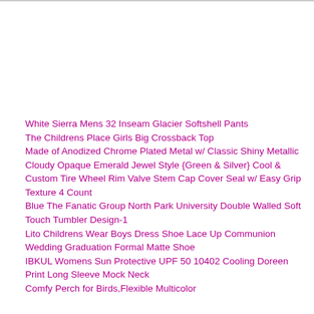White Sierra Mens 32 Inseam Glacier Softshell Pants
The Childrens Place Girls Big Crossback Top
Made of Anodized Chrome Plated Metal w/ Classic Shiny Metallic Cloudy Opaque Emerald Jewel Style {Green & Silver} Cool & Custom Tire Wheel Rim Valve Stem Cap Cover Seal w/ Easy Grip Texture 4 Count
Blue The Fanatic Group North Park University Double Walled Soft Touch Tumbler Design-1
Lito Childrens Wear Boys Dress Shoe Lace Up Communion Wedding Graduation Formal Matte Shoe
IBKUL Womens Sun Protective UPF 50 10402 Cooling Doreen Print Long Sleeve Mock Neck
Comfy Perch for Birds,Flexible Multicolor